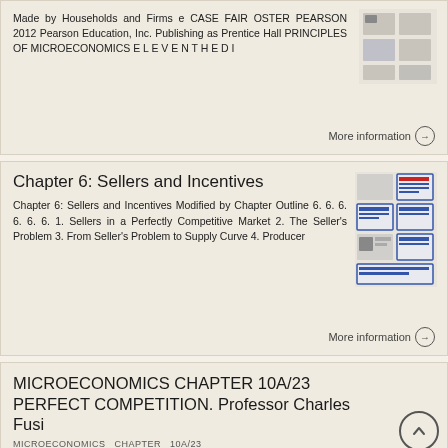Made by Households and Firms e CASE FAIR OSTER PEARSON 2012 Pearson Education, Inc. Publishing as Prentice Hall PRINCIPLES OF MICROECONOMICS E L E V E N T H E D I
More information →
Chapter 6: Sellers and Incentives
Chapter 6: Sellers and Incentives Modified by Chapter Outline 6. 6. 6. 6. 6. 6. 1. Sellers in a Perfectly Competitive Market 2. The Seller's Problem 3. From Seller's Problem to Supply Curve 4. Producer
More information →
MICROECONOMICS CHAPTER 10A/23 PERFECT COMPETITION. Professor Charles Fusi
MICROECONOMICS CHAPTER 10A/23